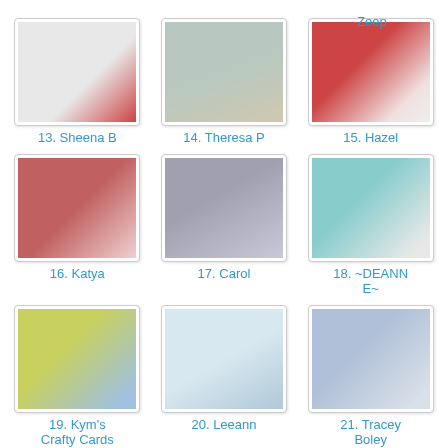Zeep
[Figure (photo): Handmade card with snowman, item 13]
13. Sheena B
[Figure (photo): Handmade card with winter scene, item 14]
14. Theresa P
[Figure (photo): Handmade card with snowflakes and red berries, item 15]
15. Hazel
[Figure (photo): Handmade card with heart design, item 16]
16. Katya
[Figure (photo): Handmade card with penguins, item 17]
17. Carol
[Figure (photo): Handmade card with teal border and character, item 18]
18. ~DEANNE~
[Figure (photo): Handmade card with yellow and blue, item 19]
19. Kym's Crafty Cards
[Figure (photo): Handmade card with snowman in blue, item 20]
20. Leeann
[Figure (photo): Handmade card with blue tones, item 21]
21. Tracey Boley
[Figure (photo): Handmade card with blue stripes, item 22]
[Figure (photo): Handmade card with tree scene, item 23]
[Figure (photo): Handmade card with vintage animal design, item 24]